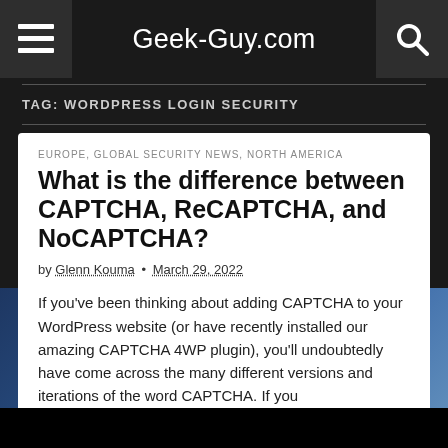Geek-Guy.com
TAG: WORDPRESS LOGIN SECURITY
EUROPE, GLOBAL SECURITY NEWS, NORTH AMERICA
What is the difference between CAPTCHA, ReCAPTCHA, and NoCAPTCHA?
by Glenn Kouma • March 29, 2022
If you've been thinking about adding CAPTCHA to your WordPress website (or have recently installed our amazing CAPTCHA 4WP plugin), you'll undoubtedly have come across the many different versions and iterations of the word CAPTCHA. If you